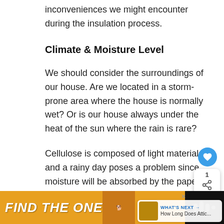inconveniences we might encounter during the insulation process.
Climate & Moisture Level
We should consider the surroundings of our house. Are we located in a storm-prone area where the house is normally wet? Or is our house always under the heat of the sun where the rain is rare?
Cellulose is composed of light materials and a rainy day poses a problem since moisture will be absorbed by the paper mixtures and become heavy for our attic. It might be time-consuming out.
[Figure (screenshot): Advertisement banner: black background with orange/yellow section showing 'FIND THE ONE' text in bold italic white, dog image, and a music service logo on the right]